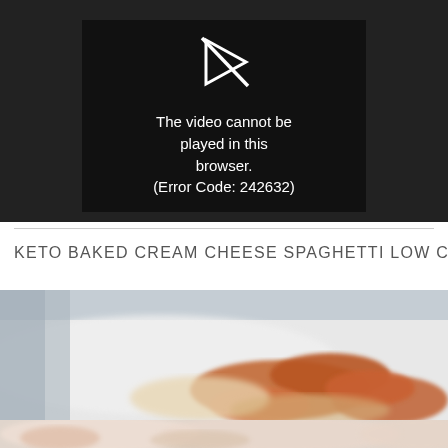[Figure (screenshot): Video player showing black background with a crossed-out play icon and error message: 'The video cannot be played in this browser. (Error Code: 242632)']
KETO BAKED CREAM CHEESE SPAGHETTI LOW CARB
[Figure (photo): A blurred close-up photograph of a baked cream cheese spaghetti dish in a white baking dish, showing orange/red sauce with pasta and cheese topping]
[Figure (photo): A second blurred close-up photograph of the same baked cream cheese spaghetti dish, lighter toned portion visible at bottom]